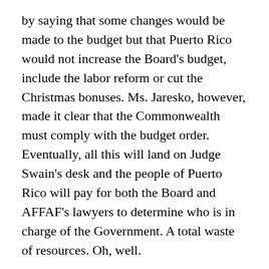by saying that some changes would be made to the budget but that Puerto Rico would not increase the Board's budget, include the labor reform or cut the Christmas bonuses. Ms. Jaresko, however, made it clear that the Commonwealth must comply with the budget order. Eventually, all this will land on Judge Swain's desk and the people of Puerto Rico will pay for both the Board and AFFAF's lawyers to determine who is in charge of the Government. A total waste of resources. Oh, well.
This is only the beginning of a long process. Section 202 of PROMESA requires the Board to give the Governor some time (not specified) to correct any errors in the budget. It not corrected, the Board will impose their own budget and send it to the Legislature